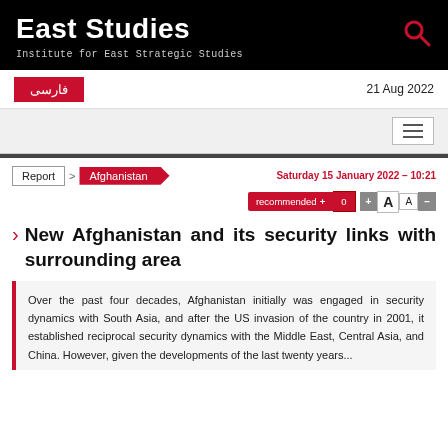East Studies
Institute for East Strategic Studies
فارسی
21 Aug 2022
Report > Afghanistan
Saturday 15 January 2022 – 10:21
recommended + 0
New Afghanistan and its security links with surrounding area
Over the past four decades, Afghanistan initially was engaged in security dynamics with South Asia, and after the US invasion of the country in 2001, it established reciprocal security dynamics with the Middle East, Central Asia, and China. However, given the developments of the last twenty years...